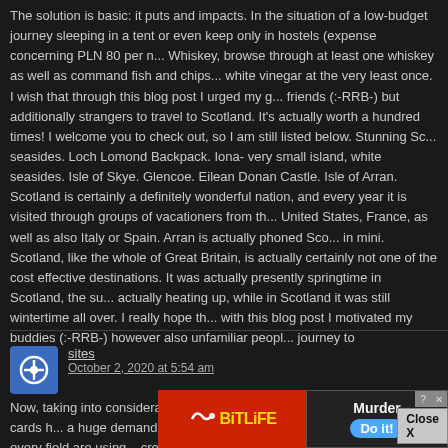The solution is basic: it puts and impacts. In the situation of a low-budget journey sleeping in a tent or even keep only in hostels (expense concerning PLN 80 per n... Whiskey, browse through at least one whiskey as well as command fish and chips... white vinegar at the very least once. I wish that through this blog post I urged my g... friends (:-RRB-) but additionally strangers to travel to Scotland. It's actually worth a hundred times! I welcome you to check out, so I am still listed below. Stunning Sc... seasides. Loch Lomond Backpack. Iona- very small island, white seasides. Isle of Skye. Glencoe. Eilean Donan Castle. Isle of Arran. Scotland is certainly a definitely wonderful nation, and every year it is visited through groups of vacationers from th... United States, France, as well as also Italy or Spain. Arran is actually phoned Sco... in mini. Scotland, like the whole of Great Britain, is actually certainly not one of the cost effective destinations. It was actually presently springtime in Scotland, the su... actually heating up, while in Scotland it was still wintertime all over. I really hope th... with this blog post I motivated my buddies (:-RRB-) however also unfamiliar peopl... journey to https://www.scotland.com/
sites
October 2, 2020 at 5:54 am
Now, taking into consideration the fast life-style that everyone leads, credit cards h... a huge demand throughout the market. Persons coming from every field are using... credit card and people who are not using the card have prepared to apply for 1. Th... for sharing your ideas on credit cards.
[Figure (screenshot): Advertisement banner: BitLife game ad (left half red with BitLife logo and sperm icon, right half dark with Murder / Do it! text and button) with Close X popup overlay and help/close icons]